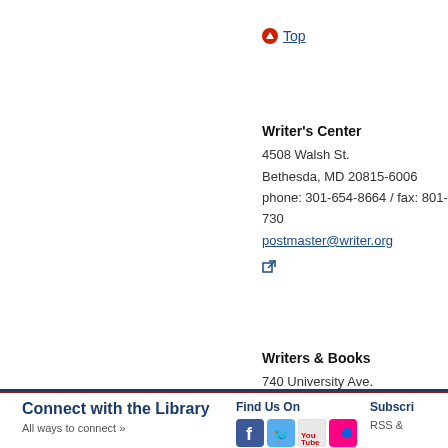↑ Top
Writer's Center
4508 Walsh St.
Bethesda, MD 20815-6006
phone: 301-654-8664 / fax: 801-730-...
postmaster@writer.org
Writers & Books
740 University Ave.
Rochester, NY 14607-1259
phone: 585-473-2590 / fax: 585-44...
wab@wab.org
Connect with the Library | Find Us On | Subscribe | RSS &
All ways to connect »